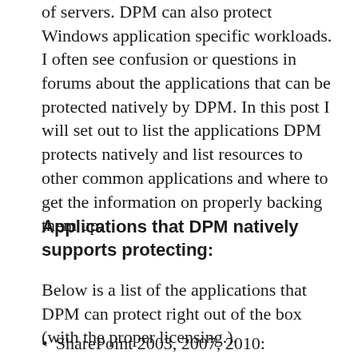of servers. DPM can also protect Windows application specific workloads. I often see confusion or questions in forums about the applications that can be protected natively by DPM. In this post I will set out to list the applications DPM protects natively and list resources to other common applications and where to get the information on properly backing them up.
Applications that DPM natively supports protecting:
Below is a list of the applications that DPM can protect right out of the box (with the proper licensing.).
SharePoint 2003, 2007, 2010: